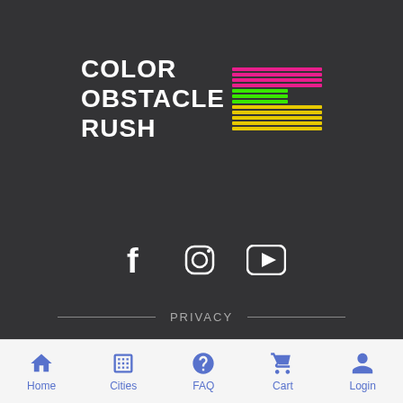[Figure (logo): Color Obstacle Rush logo with white bold text on three lines: COLOR, OBSTACLE, RUSH, with colored horizontal lines to the right: pink/magenta lines for COLOR row, green lines for OBSTACLE row, yellow lines for RUSH row]
[Figure (infographic): Social media icons: Facebook (f), Instagram (camera/circle), YouTube (play button) in white on dark background]
PRIVACY
Home   Cities   FAQ   Cart   Login